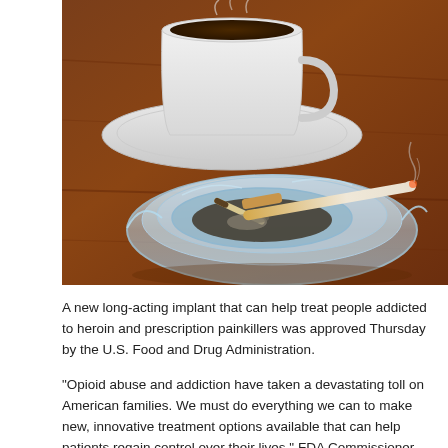[Figure (photo): A glass ashtray with cigarette butts and a lit cigarette resting on the rim, alongside a white coffee cup and saucer on a wooden table.]
A new long-acting implant that can help treat people addicted to heroin and prescription painkillers was approved Thursday by the U.S. Food and Drug Administration.
"Opioid abuse and addiction have taken a devastating toll on American families. We must do everything we can to make new, innovative treatment options available that can help patients regain control over their lives," FDA Commissioner Dr. Robert M. Califf said in a statement. "Today's approval provides the first-ever implantable option to support patients' efforts to maintain treatment as part of